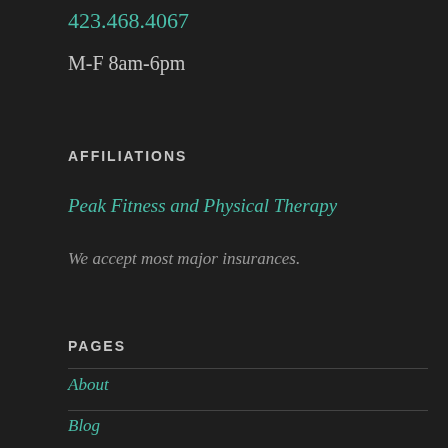423.468.4067
M-F 8am-6pm
AFFILIATIONS
Peak Fitness and Physical Therapy
We accept most major insurances.
PAGES
About
Blog
Contact